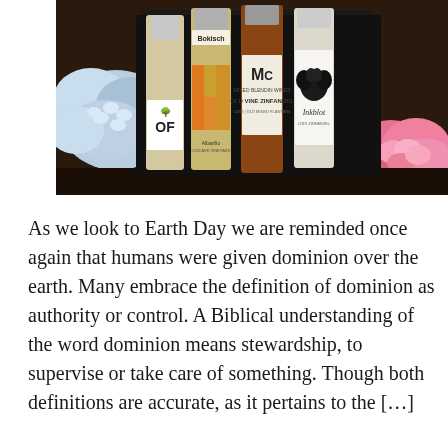[Figure (photo): Photo of four wine bottles surrounded by flowers (blue hydrangeas, green chrysanthemums, pink roses). Visible bottle labels include 'Bokisch', 'OF' (with tree logo), 'Old Vine Zinfandel' (MC label), and 'Inkblot'.]
As we look to Earth Day we are reminded once again that humans were given dominion over the earth. Many embrace the definition of dominion as authority or control. A Biblical understanding of the word dominion means stewardship, to supervise or take care of something. Though both definitions are accurate, as it pertains to the […]